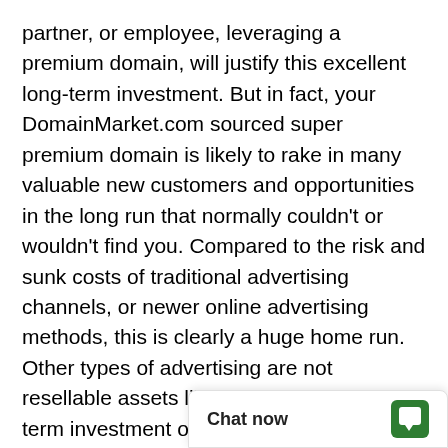partner, or employee, leveraging a premium domain, will justify this excellent long-term investment. But in fact, your DomainMarket.com sourced super premium domain is likely to rake in many valuable new customers and opportunities in the long run that normally couldn't or wouldn't find you. Compared to the risk and sunk costs of traditional advertising channels, or newer online advertising methods, this is clearly a huge home run. Other types of advertising are not resellable assets like domains, with long term investment opportunity; other advertising investments are all very risky comparatively, and are mostly wasted if you think about it.

First come, first served. Don't miss this once in a lifetime opportunity to be #1. The first person or company to secure Ez can control it forever,
[Figure (other): Chat now widget overlay in bottom-right corner with chat bubble icon]